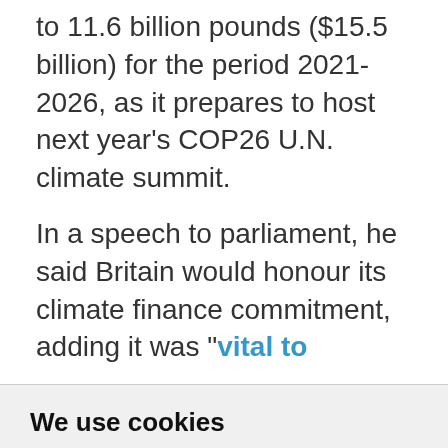to 11.6 billion pounds ($15.5 billion) for the period 2021-2026, as it prepares to host next year's COP26 U.N. climate summit.
In a speech to parliament, he said Britain would honour its climate finance commitment, adding it was "vital to
We use cookies
We use cookies and other tracking technologies to improve your browsing experience on our website, to show you personalized content and targeted ads, to analyze our website traffic, and to understand where our visitors are coming from.